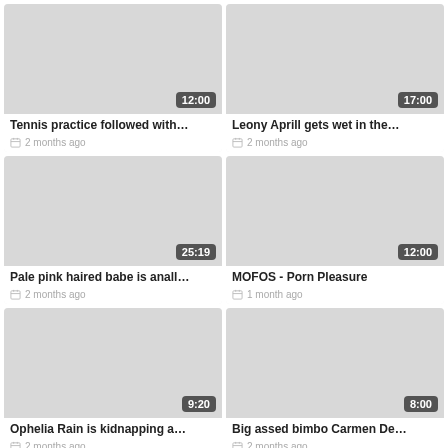[Figure (screenshot): Video thumbnail placeholder with duration 12:00 for 'Tennis practice followed with...']
Tennis practice followed with...
2 months ago
[Figure (screenshot): Video thumbnail placeholder with duration 17:00 for 'Leony Aprill gets wet in the...']
Leony Aprill gets wet in the...
2 months ago
[Figure (screenshot): Video thumbnail placeholder with duration 25:19 for 'Pale pink haired babe is anall...']
Pale pink haired babe is anall...
2 months ago
[Figure (screenshot): Video thumbnail placeholder with duration 12:00 for 'MOFOS - Porn Pleasure']
MOFOS - Porn Pleasure
1 month ago
[Figure (screenshot): Video thumbnail placeholder with duration 9:20 for 'Ophelia Rain is kidnapping a...']
Ophelia Rain is kidnapping a...
2 months ago
[Figure (screenshot): Video thumbnail placeholder with duration 8:00 for 'Big assed bimbo Carmen De...']
Big assed bimbo Carmen De...
2 months ago